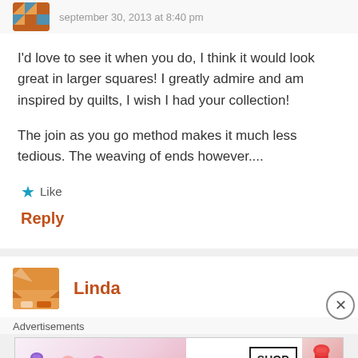september 30, 2013 at 8:40 pm
I'd love to see it when you do, I think it would look great in larger squares! I greatly admire and am inspired by quilts, I wish I had your collection!
The join as you go method makes it much less tedious. The weaving of ends however....
Like
Reply
Linda
Advertisements